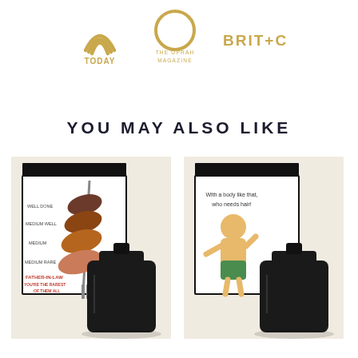[Figure (logo): TODAY show logo - rainbow arc above text TODAY in gold]
[Figure (logo): O The Oprah Magazine logo - large O with text THE OPRAH MAGAZINE in gold]
[Figure (logo): BRIT+CO logo in gold text]
YOU MAY ALSO LIKE
[Figure (photo): Gift flask set with card showing steak doneness chart labeled FATHER-IN-LAW YOU'RE THE RAREST OF THEM ALL, black flask in front]
[Figure (photo): Gift flask set with card showing cartoon man in green shorts with text 'With a body like that, who needs hair!', black flask in front]